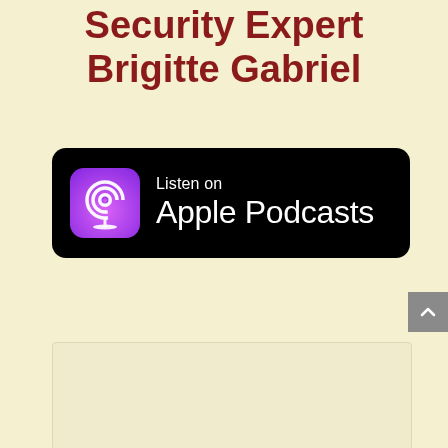Security Expert Brigitte Gabriel
[Figure (logo): Listen on Apple Podcasts badge — black rounded rectangle with purple podcast icon on left and white text 'Listen on Apple Podcasts' on right]
[Figure (other): Light yellow/cream empty panel at bottom of page]